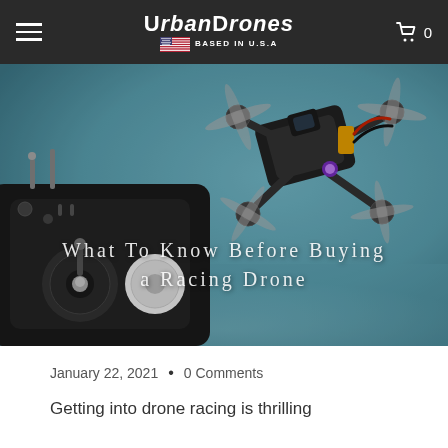UrbanDrones BASED IN U.S.A
[Figure (photo): Hero image of FPV racing drone components: a radio transmitter controller in the foreground and an FPV racing drone with propellers in the background, on a teal/mint surface. Overlaid white text: 'What To Know Before Buying a Racing Drone']
What To Know Before Buying a Racing Drone
January 22, 2021  •  0 Comments
Getting into drone racing is thrilling